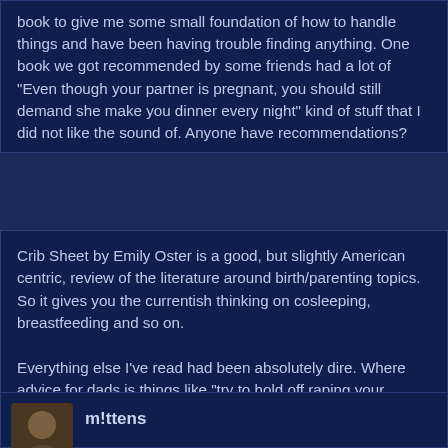book to give me some small foundation of how to handle things and have been having trouble finding anything. One book we got recommended by some friends had a lot of "Even though your partner is pregnant, you should still demand she make you dinner every night" kind of stuff that I did not like the sound of. Anyone have recommendations?
Crib Sheet by Emily Oster is a good, but slightly American centric, review of the literature around birth/parenting topics. So it gives you the currentish thinking on cosleeping, breastfeeding and so on.

Everything else I've read had been absolutely dire. Where advice for dads is things like "try to hold off raping your partner for a week or two after she gives birth" which I'm uh not the target audience for.
[Figure (other): Row of five user avatar thumbnails with heart/like icons overlaid]
m!ttens